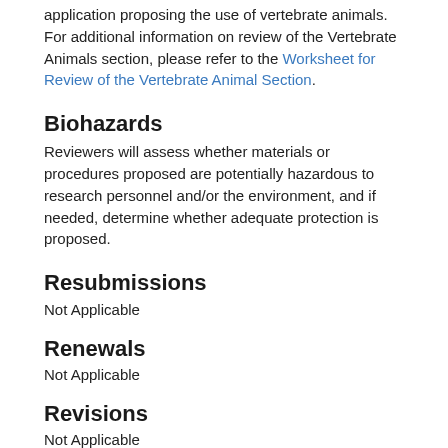application proposing the use of vertebrate animals. For additional information on review of the Vertebrate Animals section, please refer to the Worksheet for Review of the Vertebrate Animal Section.
Biohazards
Reviewers will assess whether materials or procedures proposed are potentially hazardous to research personnel and/or the environment, and if needed, determine whether adequate protection is proposed.
Resubmissions
Not Applicable
Renewals
Not Applicable
Revisions
Not Applicable
Select Agent Research
Reviewers will assess the information provided in this section of the application, including 1) the Select Agent(s) to be used in the proposed research, 2) the registration status of all entities where Select Agent(s) will be used, 3) the procedures